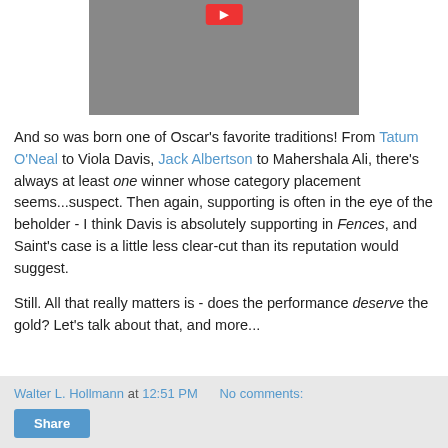[Figure (photo): Black and white photograph of a person, partially visible, with a red play button overlay at the top center.]
And so was born one of Oscar's favorite traditions! From Tatum O'Neal to Viola Davis, Jack Albertson to Mahershala Ali, there's always at least one winner whose category placement seems...suspect. Then again, supporting is often in the eye of the beholder - I think Davis is absolutely supporting in Fences, and Saint's case is a little less clear-cut than its reputation would suggest.
Still. All that really matters is - does the performance deserve the gold? Let's talk about that, and more...
Walter L. Hollmann at 12:51 PM   No comments:   Share